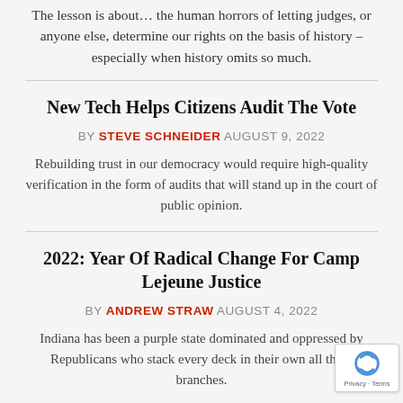The lesson is about… the human horrors of letting judges, or anyone else, determine our rights on the basis of history – especially when history omits so much.
New Tech Helps Citizens Audit The Vote
BY STEVE SCHNEIDER AUGUST 9, 2022
Rebuilding trust in our democracy would require high-quality verification in the form of audits that will stand up in the court of public opinion.
2022: Year Of Radical Change For Camp Lejeune Justice
BY ANDREW STRAW AUGUST 4, 2022
Indiana has been a purple state dominated and oppressed by Republicans who stack every deck in their own all three branches.